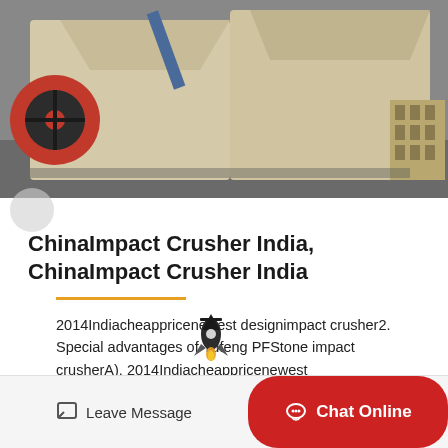[Figure (photo): Industrial impact crushers / stone crushing machines in a factory or yard setting. Large beige/cream colored machines with red flywheel visible on the left.]
ChinaImpact Crusher India, ChinaImpact Crusher India
2014Indiacheappricenewest designimpact crusher2. Special advantages of Yufeng PFStone impact crusherA). 2014Indiacheappricenewest designimpact crusherWhy choose…